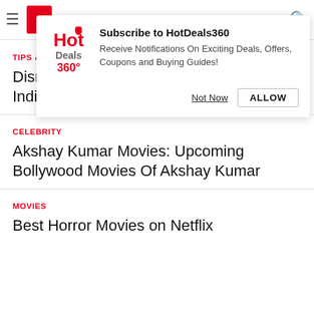HotDeals360 navigation header
[Figure (screenshot): Browser notification popup from HotDeals360 with logo, title 'Subscribe to HotDeals360', body text, and two buttons: 'Not Now' and 'ALLOW']
TIPS & TRICKS
Disney+ Hotstar Subscription Plans in India: VIP & Premium Membership Offers
CELEBRITY
Akshay Kumar Movies: Upcoming Bollywood Movies Of Akshay Kumar
MOVIES
Best Horror Movies on Netflix